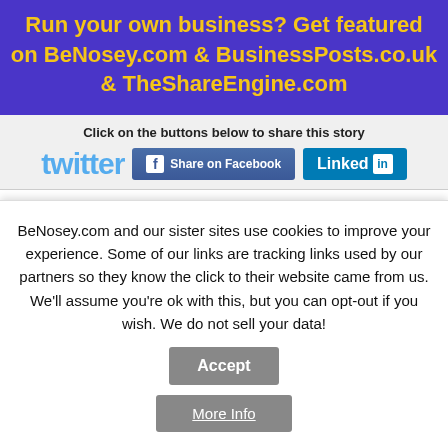[Figure (infographic): Purple banner with yellow bold text: 'Run your own business? Get featured on BeNosey.com & BusinessPosts.co.uk & TheShareEngine.com']
Click on the buttons below to share this story
[Figure (infographic): Social sharing buttons: Twitter logo (cyan), Facebook 'Share on Facebook' button (blue), LinkedIn button (teal)]
Disc... Clot... (article title partially visible)
BeNosey.com and our sister sites use cookies to improve your experience. Some of our links are tracking links used by our partners so they know the click to their website came from us. We'll assume you're ok with this, but you can opt-out if you wish. We do not sell your data!
Accept
More Info